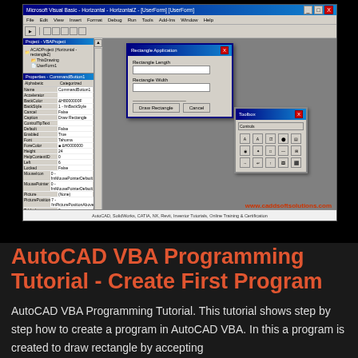[Figure (screenshot): Microsoft Visual Basic IDE screenshot showing a Rectangle Application dialog box with fields for Rectangle Length and Rectangle Width, and a small Toolbox dialog. The IDE shows the project explorer, properties window on the left, and gray design canvas. The watermark 'www.caddsoftsolutions.com' appears at the bottom right. Bottom bar reads: AutoCAD, SolidWorks, CATIA, NX, Revit, Inventor Tutorials, Online Training & Certification]
AutoCAD VBA Programming Tutorial - Create First Program
AutoCAD VBA Programming Tutorial. This tutorial shows step by step how to create a program in AutoCAD VBA. In this a program is created to draw rectangle by accepting